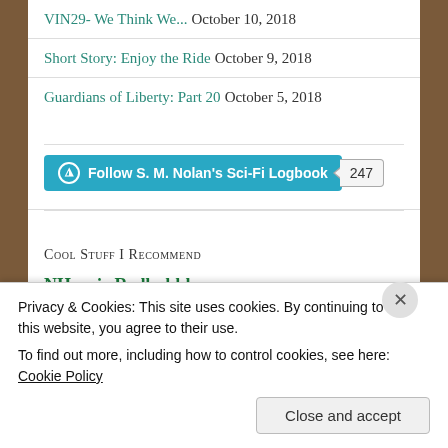VIN29- We Think We... October 10, 2018
Short Story: Enjoy the Ride October 9, 2018
Guardians of Liberty: Part 20 October 5, 2018
[Figure (other): Follow S. M. Nolan's Sci-Fi Logbook button with 247 followers count]
Cool Stuff I Recommend
NHarrje Redbubble
Privacy & Cookies: This site uses cookies. By continuing to use this website, you agree to their use.
To find out more, including how to control cookies, see here: Cookie Policy
Close and accept